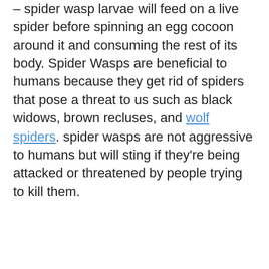– spider wasp larvae will feed on a live spider before spinning an egg cocoon around it and consuming the rest of its body. Spider Wasps are beneficial to humans because they get rid of spiders that pose a threat to us such as black widows, brown recluses, and wolf spiders. spider wasps are not aggressive to humans but will sting if they're being attacked or threatened by people trying to kill them.
– spider eggs laid on spider webs do nothing because the spider is dead already
[Figure (screenshot): Video overlay showing 'No compatible source was found for this media.' message with a semi-transparent grey background, and a CVS pharmacy advertisement below showing Ashburn store OPEN 08:00 – 00:00 at 43930 Farmwell Hunt Plaza, As... with navigation icon, close button, and media controls.]